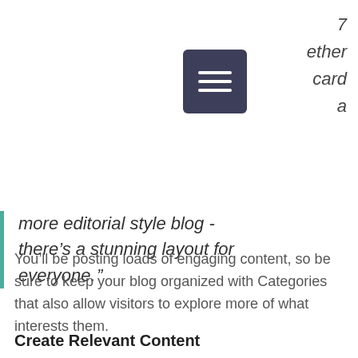[Figure (other): Hamburger/menu icon: three white horizontal lines on a dark blue-grey rounded square background]
7
ether
card
a
more editorial style blog - there's a stunning layout for everyone."
You'll be posting loads of engaging content, so be sure to keep your blog organized with Categories that also allow visitors to explore more of what interests them.
Create Relevant Content